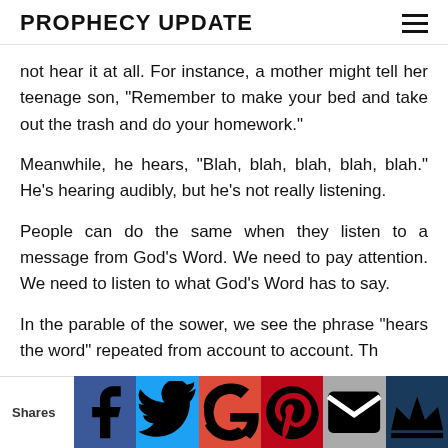PROPHECY UPDATE
not hear it at all. For instance, a mother might tell her teenage son, “Remember to make your bed and take out the trash and do your homework.”
Meanwhile, he hears, “Blah, blah, blah, blah, blah.” He’s hearing audibly, but he’s not really listening.
People can do the same when they listen to a message from God’s Word. We need to pay attention. We need to listen to what God’s Word has to say.
In the parable of the sower, we see the phrase “hears the word” repeated from account to account. Th…
Shares | Facebook | Twitter | Google+ | Pinterest | Email | Crown